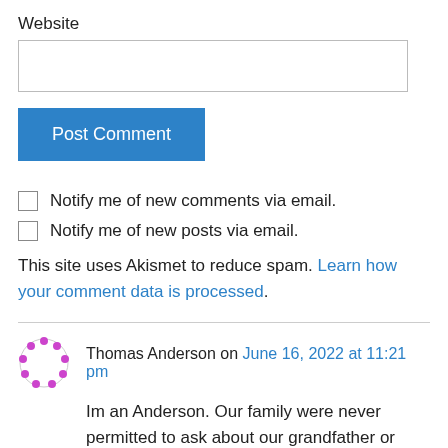Website
[input box]
Post Comment
Notify me of new comments via email.
Notify me of new posts via email.
This site uses Akismet to reduce spam. Learn how your comment data is processed.
Thomas Anderson on June 16, 2022 at 11:21 pm
Im an Anderson. Our family were never permitted to ask about our grandfather or